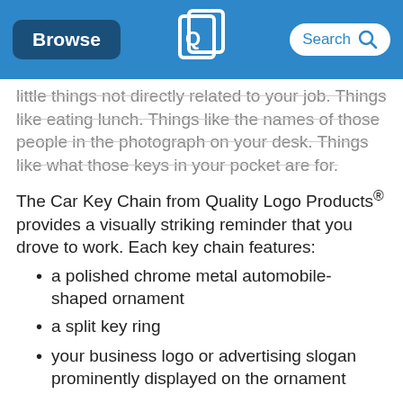Browse | [Quality Logo Products Logo] | Search
little things not directly related to your job. Things like eating lunch. Things like the names of those people in the photograph on your desk. Things like what those keys in your pocket are for.
The Car Key Chain from Quality Logo Products® provides a visually striking reminder that you drove to work. Each key chain features:
a polished chrome metal automobile-shaped ornament
a split key ring
your business logo or advertising slogan prominently displayed on the ornament
The Car Key Chain makes a great promotional gift for automobile dealerships, car washes, auto parts distributors, car rental agencies, and garages. Like all